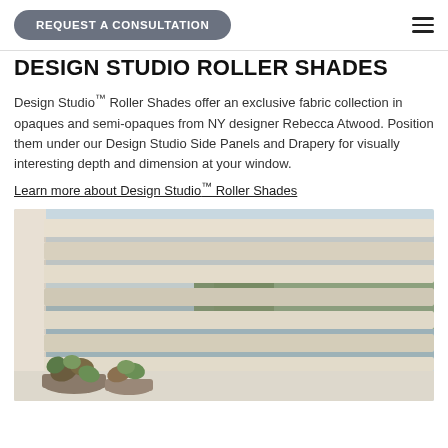REQUEST A CONSULTATION
DESIGN STUDIO ROLLER SHADES
Design Studio™ Roller Shades offer an exclusive fabric collection in opaques and semi-opaques from NY designer Rebecca Atwood. Position them under our Design Studio Side Panels and Drapery for visually interesting depth and dimension at your window.
Learn more about Design Studio™ Roller Shades
[Figure (photo): Close-up photo of layered roller shades on a window with natural light, a river/water view visible through the slats, and succulent plants on the windowsill.]